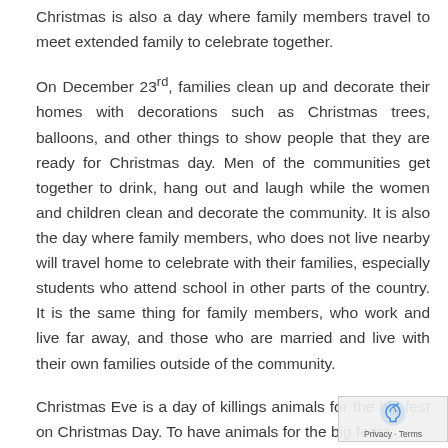Christmas is also a day where family members travel to meet extended family to celebrate together.
On December 23rd, families clean up and decorate their homes with decorations such as Christmas trees, balloons, and other things to show people that they are ready for Christmas day. Men of the communities get together to drink, hang out and laugh while the women and children clean and decorate the community. It is also the day where family members, who does not live nearby will travel home to celebrate with their families, especially students who attend school in other parts of the country. It is the same thing for family members, who work and live far away, and those who are married and live with their own families outside of the community.
Christmas Eve is a day of killings animals for the big fest on Christmas Day. To have animals for the big feast,